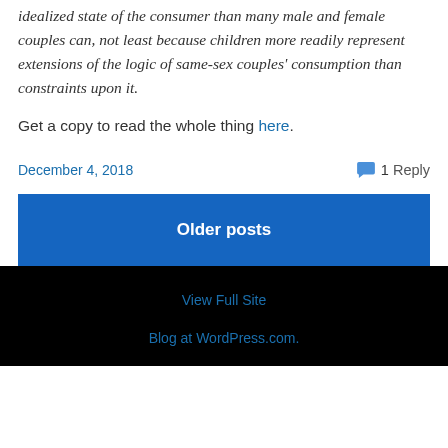idealized state of the consumer than many male and female couples can, not least because children more readily represent extensions of the logic of same-sex couples' consumption than constraints upon it.
Get a copy to read the whole thing here.
December 4, 2018
1 Reply
Older posts
View Full Site
Blog at WordPress.com.